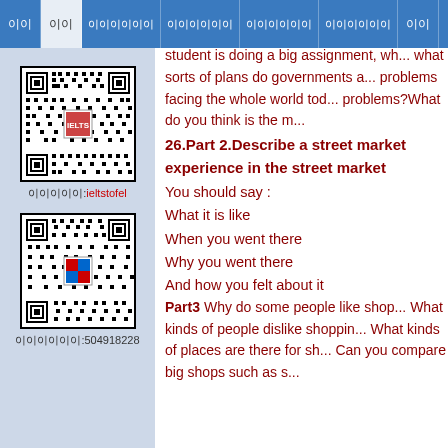이이 이이 이이이이이이 이이이이이이 이이이이이이 이이이이이이 이이
[Figure (other): QR code for ieltstofel with label 이이이이이:ieltstofel]
[Figure (other): QR code with label 이이이이이이:504918228]
And explain how you would feel if it
Part 3 What different sorts of person... student is doing a big assignment, wh... what sorts of plans do governments a... problems facing the whole world tod... problems?What do you think is the m...
26.Part 2.Describe a street market experience in the street market
You should say :
What it is like
When you went there
Why you went there
And how you felt about it
Part3 Why do some people like shop... What kinds of people dislike shoppin... What kinds of places are there for sh... Can you compare big shops such as s...